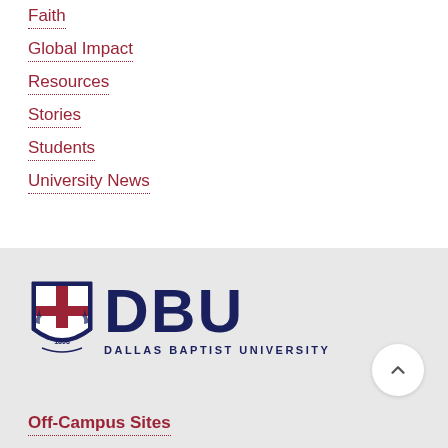Faith
Global Impact
Resources
Stories
Students
University News
[Figure (logo): Dallas Baptist University logo with shield crest and DBU text]
Off-Campus Sites